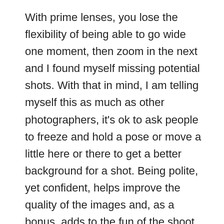With prime lenses, you lose the flexibility of being able to go wide one moment, then zoom in the next and I found myself missing potential shots. With that in mind, I am telling myself this as much as other photographers, it's ok to ask people to freeze and hold a pose or move a little here or there to get a better background for a shot. Being polite, yet confident, helps improve the quality of the images and, as a bonus, adds to the fun of the shoot.